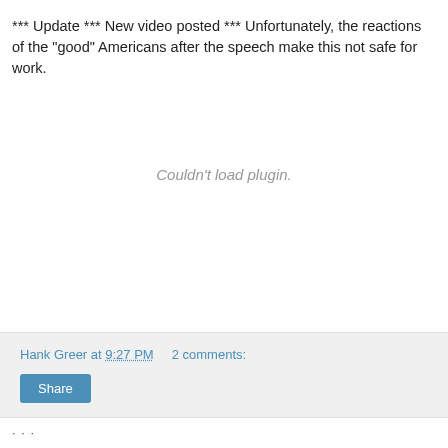*** Update *** New video posted *** Unfortunately, the reactions of the "good" Americans after the speech make this not safe for work.
[Figure (other): Couldn't load plugin. — A media plugin embed area that failed to load.]
Hank Greer at 9:27 PM   2 comments:
Share